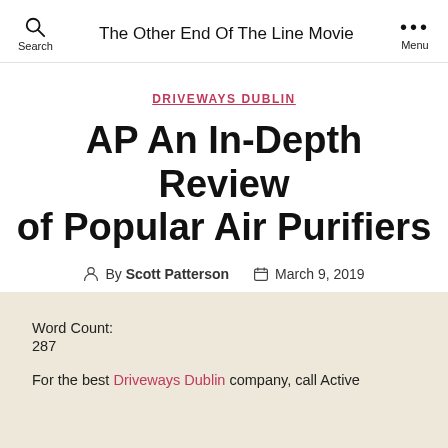Search  The Other End Of The Line Movie  Menu
DRIVEWAYS DUBLIN
AP An In-Depth Review of Popular Air Purifiers
By Scott Patterson  March 9, 2019
Word Count:
287
For the best Driveways Dublin company, call Active